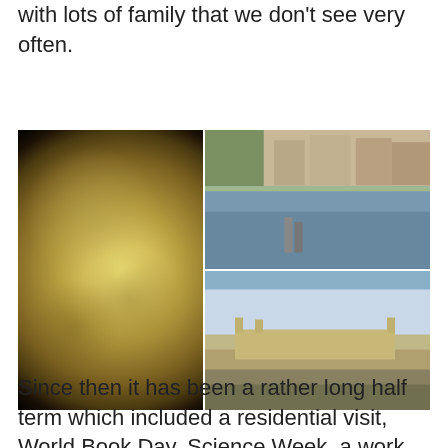with lots of family that we don't see very often.
[Figure (photo): Photo collage: large close-up of the moon on the left (filling entire left column), top-right shows a river scene with stepping stones and town buildings in background, bottom-right shows a castle or fortress structure with cloudy sky.]
Since then it has been a rather long half term which included a residential visit, World Book Day, Science Week, a work